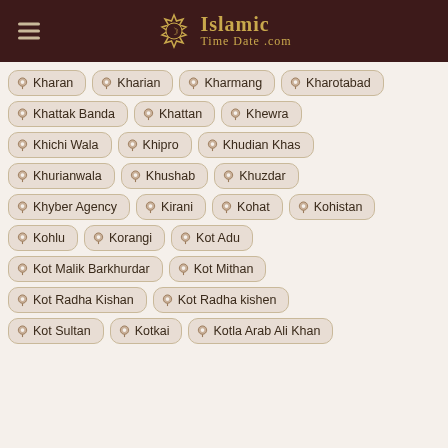Islamic Time Date .com
Kharan
Kharian
Kharmang
Kharotabad
Khattak Banda
Khattan
Khewra
Khichi Wala
Khipro
Khudian Khas
Khurianwala
Khushab
Khuzdar
Khyber Agency
Kirani
Kohat
Kohistan
Kohlu
Korangi
Kot Adu
Kot Malik Barkhurdar
Kot Mithan
Kot Radha Kishan
Kot Radha kishen
Kot Sultan
Kotkai
Kotla Arab Ali Khan